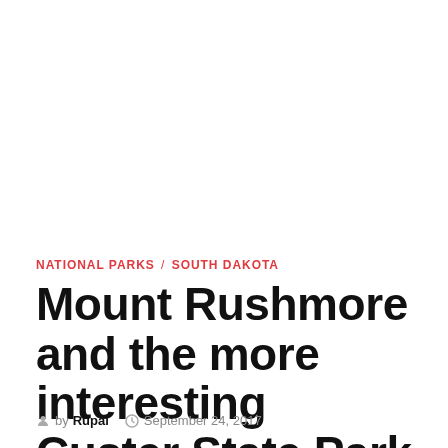NATIONAL PARKS / SOUTH DAKOTA
Mount Rushmore and the more interesting Custer State Park
by Rupal   September 24, 2017